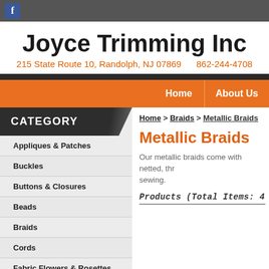Joyce Trimming Inc - 215 State Route 10, Randolph, NJ 07869 - 862-244-4708
Home | About Us
CATEGORY
Appliques & Patches
Buckles
Buttons & Closures
Beads
Braids
Cords
Fabric Flowers & Rosettes
Fringe
Lace
Home > Braids > Metallic Braids
Metallic Braids
Our metallic braids come with netted, thr... sewing.
Products (Total Items: 4